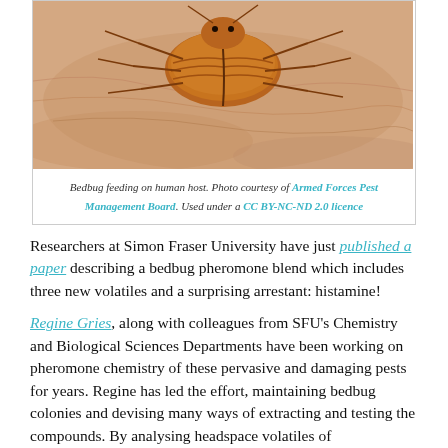[Figure (photo): Close-up macro photograph of a bedbug feeding on human skin host, brownish-orange insect visible with legs spread on pale skin surface.]
Bedbug feeding on human host. Photo courtesy of Armed Forces Pest Management Board. Used under a CC BY-NC-ND 2.0 licence
Researchers at Simon Fraser University have just published a paper describing a bedbug pheromone blend which includes three new volatiles and a surprising arrestant: histamine!
Regine Gries, along with colleagues from SFU's Chemistry and Biological Sciences Departments have been working on pheromone chemistry of these pervasive and damaging pests for years. Regine has led the effort, maintaining bedbug colonies and devising many ways of extracting and testing the compounds. By analysing headspace volatiles of